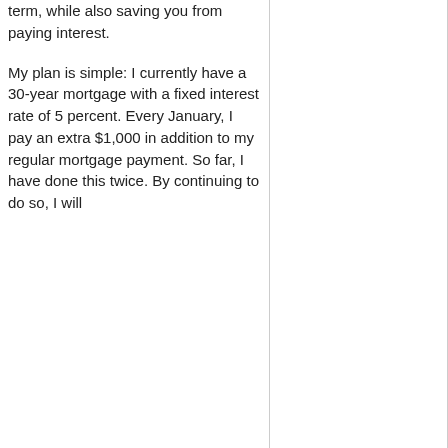term, while also saving you from paying interest.
My plan is simple: I currently have a 30-year mortgage with a fixed interest rate of 5 percent. Every January, I pay an extra $1,000 in addition to my regular mortgage payment. So far, I have done this twice. By continuing to do so, I will